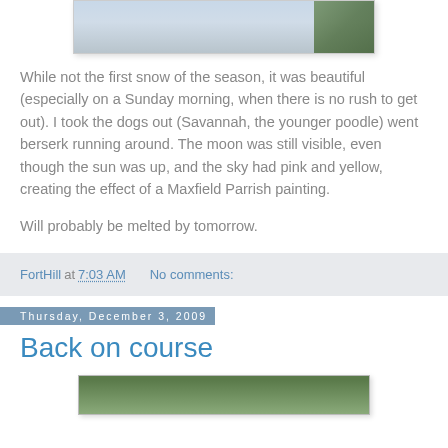[Figure (photo): Partial view of a snow scene photo, cropped at top]
While not the first snow of the season, it was beautiful (especially on a Sunday morning, when there is no rush to get out). I took the dogs out (Savannah, the younger poodle) went berserk running around. The moon was still visible, even though the sun was up, and the sky had pink and yellow, creating the effect of a Maxfield Parrish painting.
Will probably be melted by tomorrow.
FortHill at 7:03 AM    No comments:
Thursday, December 3, 2009
Back on course
[Figure (photo): Partial view of an outdoor/nature scene photo at bottom]